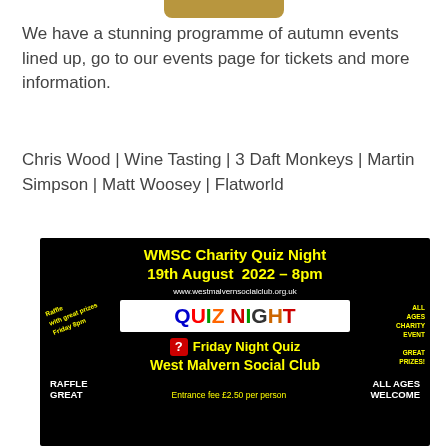We have a stunning programme of autumn events lined up, go to our events page for tickets and more information.
Chris Wood | Wine Tasting | 3 Daft Monkeys | Martin Simpson | Matt Woosey | Flatworld
[Figure (infographic): WMSC Charity Quiz Night promotional poster on black background. Title: WMSC Charity Quiz Night 19th August 2022 – 8pm. Website: www.westmalvernsocialclub.org.uk. Large colourful QUIZ NIGHT text in white box. Friday Night Quiz West Malvern Social Club. Bottom: RAFFLE GREAT | Entrance fee £2.50 per person | ALL AGES WELCOME. Side text: Raffle with great prizes Friday 8pm (left) and ALL AGES CHARITY EVENT / GREAT PRIZES! (right).]